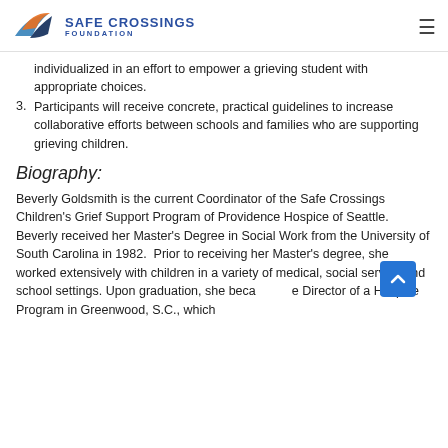Safe Crossings Foundation
individualized in an effort to empower a grieving student with appropriate choices.
3. Participants will receive concrete, practical guidelines to increase collaborative efforts between schools and families who are supporting grieving children.
Biography:
Beverly Goldsmith is the current Coordinator of the Safe Crossings Children's Grief Support Program of Providence Hospice of Seattle. Beverly received her Master's Degree in Social Work from the University of South Carolina in 1982. Prior to receiving her Master's degree, she worked extensively with children in a variety of medical, social service and school settings. Upon graduation, she became the Director of a Hospice Program in Greenwood, S.C., which